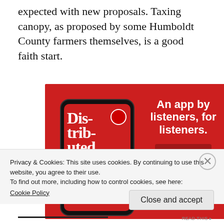expected with new proposals. Taxing canopy, as proposed by some Humboldt County farmers themselves, is a good faith start.
[Figure (infographic): Advertisement for a podcast app showing a smartphone displaying a podcast called 'Distributed' on a red background, with the text 'An app by listeners, for listeners.' and a 'Download now' button.]
Privacy & Cookies: This site uses cookies. By continuing to use this website, you agree to their use.
To find out more, including how to control cookies, see here: Cookie Policy
Close and accept